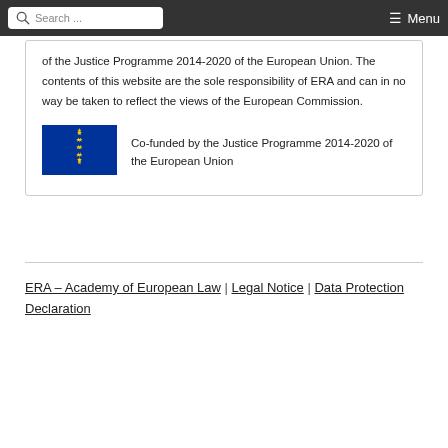Search ... Menu
of the Justice Programme 2014-2020 of the European Union. The contents of this website are the sole responsibility of ERA and can in no way be taken to reflect the views of the European Commission.
[Figure (logo): EU flag — blue background with circle of 12 gold stars]
Co-funded by the Justice Programme 2014-2020 of the European Union
ERA – Academy of European Law | Legal Notice | Data Protection Declaration